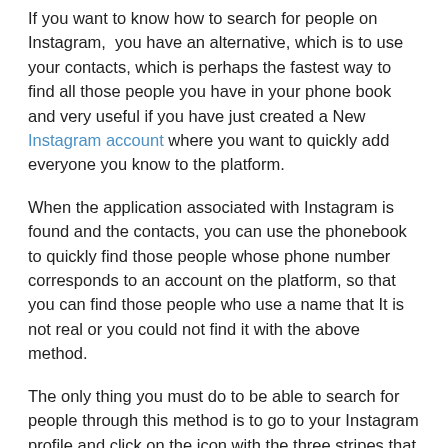If you want to know how to search for people on Instagram,  you have an alternative, which is to use your contacts, which is perhaps the fastest way to find all those people you have in your phone book and very useful if you have just created a New Instagram account where you want to quickly add everyone you know to the platform.
When the application associated with Instagram is found and the contacts, you can use the phonebook to quickly find those people whose phone number corresponds to an account on the platform, so that you can find those people who use a name that It is not real or you could not find it with the above method.
The only thing you must do to be able to search for people through this method is to go to your Instagram profile and click on the icon with the three stripes that appears in the upper right of the user profile. This will open the usual side menu, where you must locate the